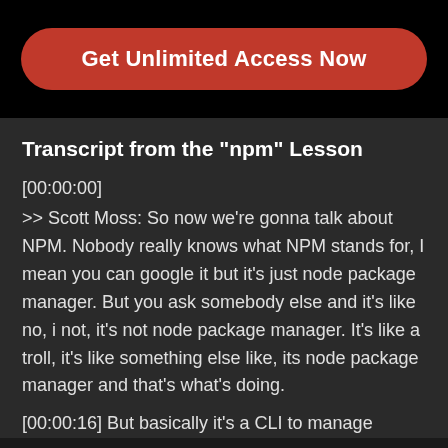[Figure (other): Red rounded rectangle button with white text 'Get Unlimited Access Now' on black background]
Transcript from the "npm" Lesson
[00:00:00]
>> Scott Moss: So now we're gonna talk about NPM. Nobody really knows what NPM stands for, I mean you can google it but it's just node package manager. But you ask somebody else and it's like no, i not, it's not node package manager. It's like a troll, it's like something else like, its node package manager and that's what's doing.
[00:00:16] But basically it's a CLI to manage